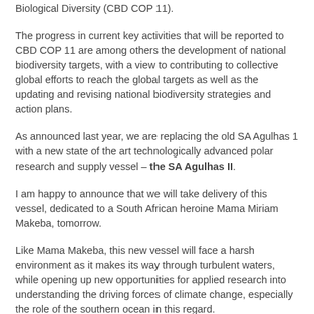Biological Diversity (CBD COP 11).
The progress in current key activities that will be reported to CBD COP 11 are among others the development of national biodiversity targets, with a view to contributing to collective global efforts to reach the global targets as well as the updating and revising national biodiversity strategies and action plans.
As announced last year, we are replacing the old SA Agulhas 1 with a new state of the art technologically advanced polar research and supply vessel – the SA Agulhas II.
I am happy to announce that we will take delivery of this vessel, dedicated to a South African heroine Mama Miriam Makeba, tomorrow.
Like Mama Makeba, this new vessel will face a harsh environment as it makes its way through turbulent waters, while opening up new opportunities for applied research into understanding the driving forces of climate change, especially the role of the southern ocean in this regard.
We collaborate with Department of Science and Technology on biotechnology, Antarctica research, Southern Ocean research